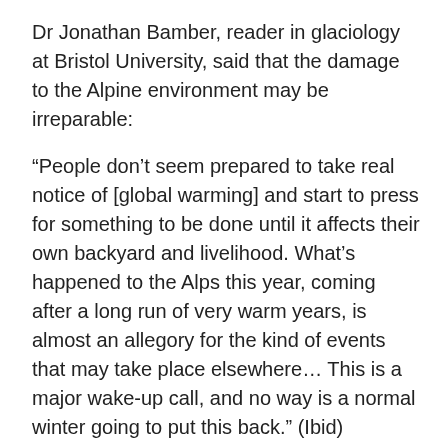Dr Jonathan Bamber, reader in glaciology at Bristol University, said that the damage to the Alpine environment may be irreparable:
“People don’t seem prepared to take real notice of [global warming] and start to press for something to be done until it affects their own backyard and livelihood. What’s happened to the Alps this year, coming after a long run of very warm years, is almost an allegory for the kind of events that may take place elsewhere… This is a major wake-up call, and no way is a normal winter going to put this back.” (Ibid)
Last year the US National Academy of Sciences warned of a very sudden global climate disaster, perhaps within the next ten years. Reviewing the academy’s report, the then UK environment minister, Michael Meacher, wrote: